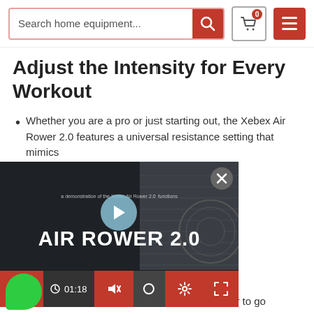Search home equipment...
Adjust the Intensity for Every Workout
Whether you are a pro or just starting out, the Xebex Air Rower 2.0 features a universal resistance setting that mimics [all types of resistance]
[Figure (screenshot): Video player showing AIR ROWER 2.0 promotional video with a woman seated beside a rowing machine. Video controls visible at bottom: play button, 01:18 timestamp, mute, settings, fullscreen. Close button at top right.]
how hard you row. Row harder to go